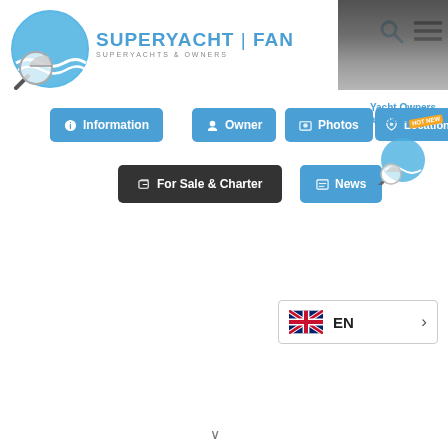[Figure (logo): SuperyachtFan logo with magnifying glass over yacht and waves circle]
SUPERYACHT | FAN — SUPERYACHTS & OWNERS
Information
Owner
Photos
Location
For Sale & Charter
News
[Figure (logo): Yacht Owners Database logo with HOT NEW badge]
[Figure (infographic): UK flag language selector showing EN with arrow]
EN